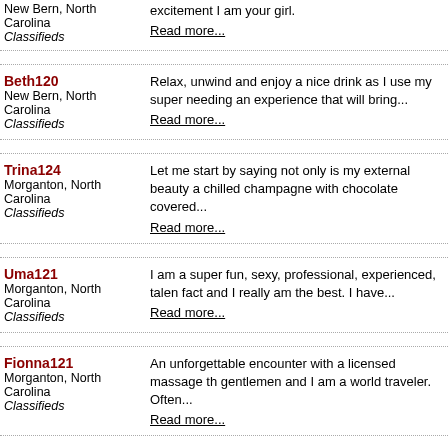New Bern, North Carolina Classifieds — excitement I am your girl. Read more...
Beth120 — New Bern, North Carolina Classifieds — Relax, unwind and enjoy a nice drink as I use my super needing an experience that will bring... Read more...
Trina124 — Morganton, North Carolina Classifieds — Let me start by saying not only is my external beauty a chilled champagne with chocolate covered... Read more...
Uma121 — Morganton, North Carolina Classifieds — I am a super fun, sexy, professional, experienced, talen fact and I really am the best. I have... Read more...
Fionna121 — Morganton, North Carolina Classifieds — An unforgettable encounter with a licensed massage th gentlemen and I am a world traveler. Often... Read more...